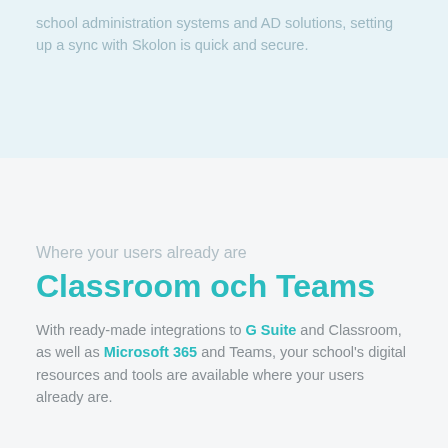school administration systems and AD solutions, setting up a sync with Skolon is quick and secure.
Where your users already are
Classroom och Teams
With ready-made integrations to G Suite and Classroom, as well as Microsoft 365 and Teams, your school's digital resources and tools are available where your users already are.